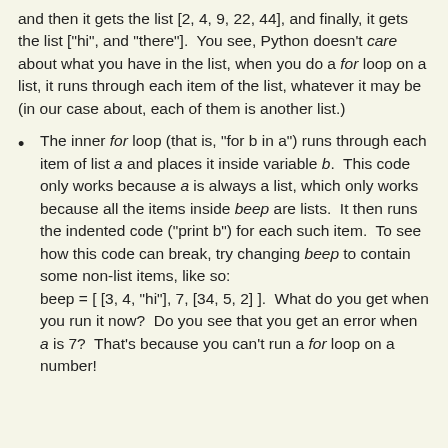and then it gets the list [2, 4, 9, 22, 44], and finally, it gets the list ["hi", and "there"].  You see, Python doesn't care about what you have in the list, when you do a for loop on a list, it runs through each item of the list, whatever it may be (in our case about, each of them is another list.)
The inner for loop (that is, "for b in a") runs through each item of list a and places it inside variable b.  This code only works because a is always a list, which only works because all the items inside beep are lists.  It then runs the indented code ("print b") for each such item.  To see how this code can break, try changing beep to contain some non-list items, like so:
beep = [ [3, 4, "hi"], 7, [34, 5, 2] ].  What do you get when you run it now?  Do you see that you get an error when a is 7?  That's because you can't run a for loop on a number!